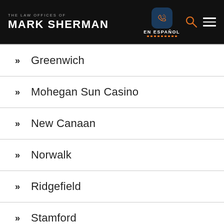The Law Offices of Mark Sherman
Greenwich
Mohegan Sun Casino
New Canaan
Norwalk
Ridgefield
Stamford
Westport